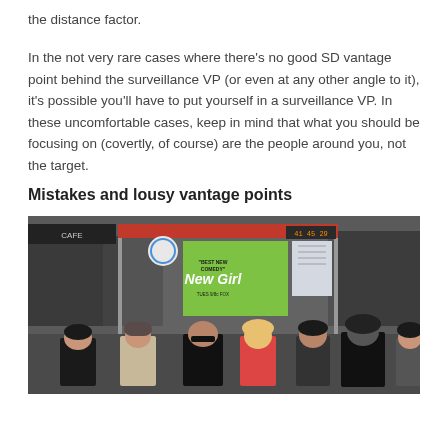the distance factor.
In the not very rare cases where there's no good SD vantage point behind the surveillance VP (or even at any other angle to it), it's possible you'll have to put yourself in a surveillance VP. In these uncomfortable cases, keep in mind that what you should be focusing on (covertly, of course) are the people around you, not the target.
Mistakes and lousy vantage points
[Figure (photo): Street scene showing people standing at a bus stop or transit shelter. A green 'New Girl' TV show advertisement is visible in the shelter. Several people of various ages are visible in the foreground, with urban storefronts in the background.]